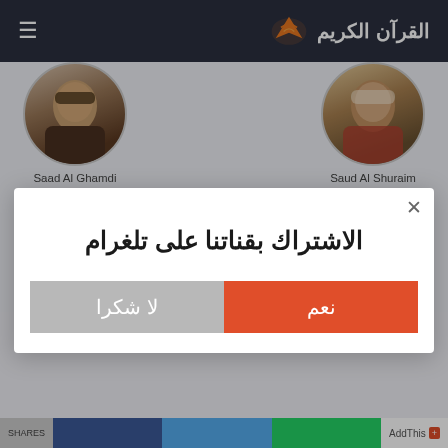القرآن الكريم
[Figure (photo): Circular portrait of Saad Al Ghamdi (reciter)]
Saad Al Ghamdi
[Figure (photo): Circular portrait of Saud Al Shuraim (reciter)]
Saud Al Shuraim
[Figure (photo): Circular portrait of a third reciter (partially shown)]
[Figure (photo): Circular portrait of a fourth reciter (partially shown)]
الاشتراك بقناتنا على تلغرام
نعم
لا شكرا
AddThis